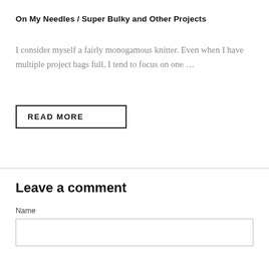On My Needles / Super Bulky and Other Projects
I consider myself a fairly monogamous knitter. Even when I have multiple project bags full, I tend to focus on one …
READ MORE
Leave a comment
Name